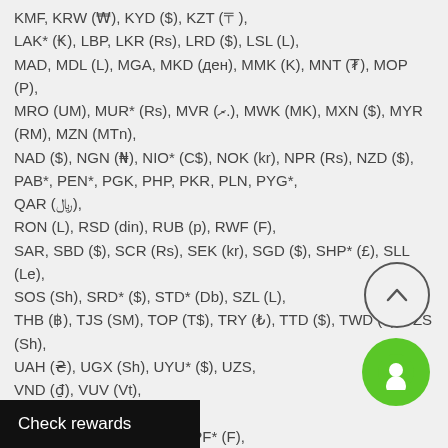KMF, KRW (₩), KYD ($), KZT (〒),
LAK* (₭), LBP, LKR (Rs), LRD ($), LSL (L),
MAD, MDL (L), MGA, MKD (ден), MMK (K), MNT (₮), MOP (P),
MRO (UM), MUR* (Rs), MVR (ރ.), MWK (MK), MXN ($), MYR (RM), MZN (MTn),
NAD ($), NGN (₦), NIO* (C$), NOK (kr), NPR (Rs), NZD ($),
PAB*, PEN*, PGK, PHP, PKR, PLN, PYG*,
QAR (﷼),
RON (L), RSD (din), RUB (p), RWF (F),
SAR, SBD ($), SCR (Rs), SEK (kr), SGD ($), SHP* (£), SLL (Le),
SOS (Sh), SRD* ($), STD* (Db), SZL (L),
THB (฿), TJS (SM), TOP (T$), TRY (₺), TTD ($), TWD ($), TZS (Sh),
UAH (₴), UGX (Sh), UYU* ($), UZS,
VND (₫), VUV (Vt),
WST (T),
XAF (F), XCD ($), XOF*, XPF* (F),
YER (﷼),
ZAR (R), ZMW (ZK)
[Figure (other): Scroll to top button - circular button with upward chevron]
[Figure (other): Chat button - green circular button with chat icon]
Check rewards